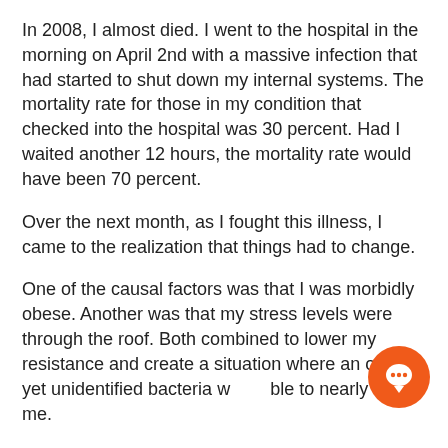In 2008, I almost died. I went to the hospital in the morning on April 2nd with a massive infection that had started to shut down my internal systems. The mortality rate for those in my condition that checked into the hospital was 30 percent. Had I waited another 12 hours, the mortality rate would have been 70 percent.
Over the next month, as I fought this illness, I came to the realization that things had to change.
One of the causal factors was that I was morbidly obese. Another was that my stress levels were through the roof. Both combined to lower my resistance and create a situation where an odd, as yet unidentified bacteria was able to nearly kill me.
After recovery, I began searching for a way to